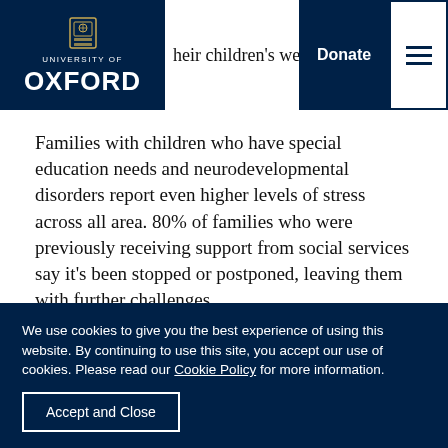University of Oxford — their children's wellbe... | Donate | Menu
Families with children who have special education needs and neurodevelopmental disorders report even higher levels of stress across all area. 80% of families who were previously receiving support from social services say it's been stopped or postponed, leaving them with further challenges. Professor Cathy Creswell, Departments of Psychiatry and Experimental Psychology, University of Oxford, said, "This study is so important to understand the
We use cookies to give you the best experience of using this website. By continuing to use this site, you accept our use of cookies. Please read our Cookie Policy for more information.
Accept and Close